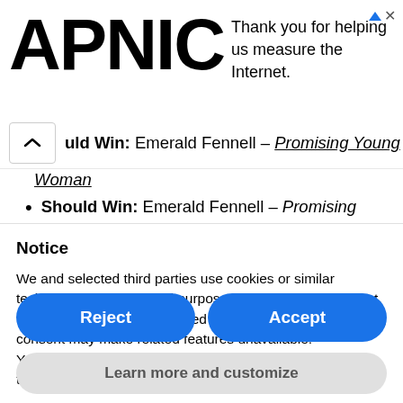[Figure (logo): APNIC logo in large bold black text with ad text: 'Thank you for helping us measure the Internet.']
uld Win: Emerald Fennell – Promising Young Woman
Should Win: Emerald Fennell – Promising Young
Notice
We and selected third parties use cookies or similar technologies for technical purposes and, with your consent, for other purposes as specified in the cookie policy. Denying consent may make related features unavailable.
You can consent to the use of such technologies by using the "Accept" button or by continuing to browse otherwise.
Reject
Accept
Learn more and customize